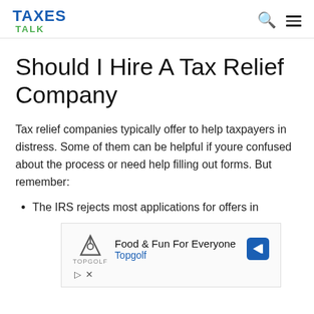TAXES TALK
Should I Hire A Tax Relief Company
Tax relief companies typically offer to help taxpayers in distress. Some of them can be helpful if youre confused about the process or need help filling out forms. But remember:
The IRS rejects most applications for offers in
[Figure (infographic): Advertisement banner for Topgolf: Food & Fun For Everyone, with Topgolf logo and navigation arrow icon]